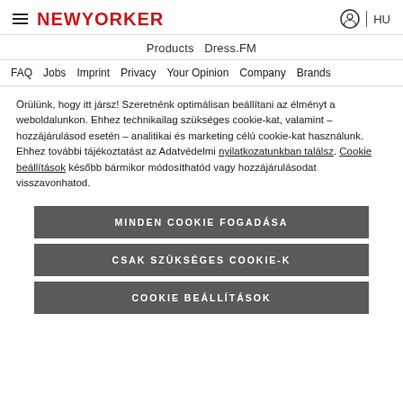≡ NEW YORKER  🔵 | HU
Products   Dress.FM
FAQ   Jobs   Imprint   Privacy   Your Opinion   Company   Brands
Örülünk, hogy itt jársz! Szeretnénk optimálisan beállítani az élményt a weboldalunkon. Ehhez technikailag szükséges cookie-kat, valamint – hozzájárulásod esetén – analitikai és marketing célú cookie-kat használunk.
Ehhez további tájékoztatást az Adatvédelmi nyilatkozatunkban találsz. Cookie beállítások később bármikor módosíthatód vagy hozzájárulásodat visszavonhatod.
MINDEN COOKIE FOGADÁSA
CSAK SZÜKSÉGES COOKIE-K
COOKIE BEÁLLÍTÁSOK